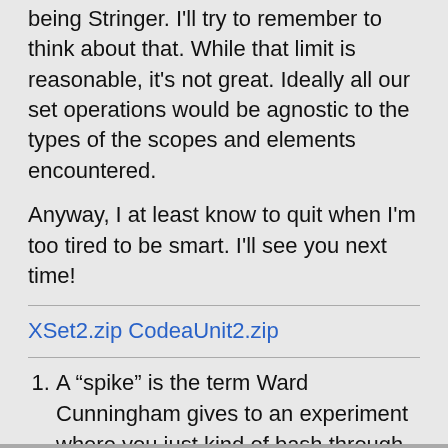being Stringer. I'll try to remember to think about that. While that limit is reasonable, it's not great. Ideally all our set operations would be agnostic to the types of the scopes and elements encountered.
Anyway, I at least know to quit when I'm too tired to be smart. I'll see you next time!
XSet2.zip CodeaUnit2.zip
A “spike” is the term Ward Cunningham gives to an experiment where you just kind of bash through something, to learn how to do it (and how not). ←